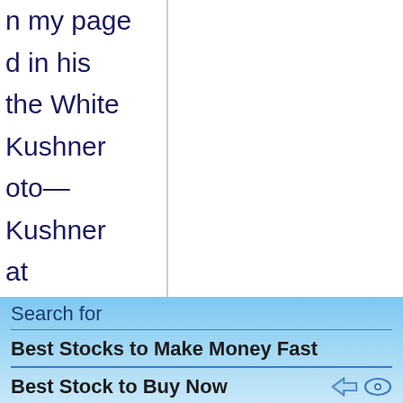n my page
d in his
the White
Kushner
oto—
Kushner
at
 were
Kushner,
. "I kind of
ublicans for
will
nuary 6th
ake part in
DC.Drew
bers of her
 this to my
ald Trump
nvestigating
Search for
Best Stocks to Make Money Fast
Best Stock to Buy Now